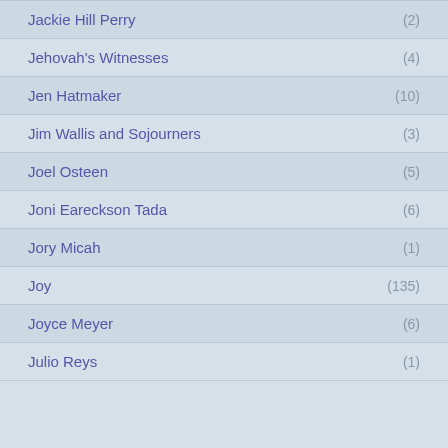Jackie Hill Perry (2)
Jehovah's Witnesses (4)
Jen Hatmaker (10)
Jim Wallis and Sojourners (3)
Joel Osteen (5)
Joni Eareckson Tada (6)
Jory Micah (1)
Joy (135)
Joyce Meyer (6)
Julio Reys (1)